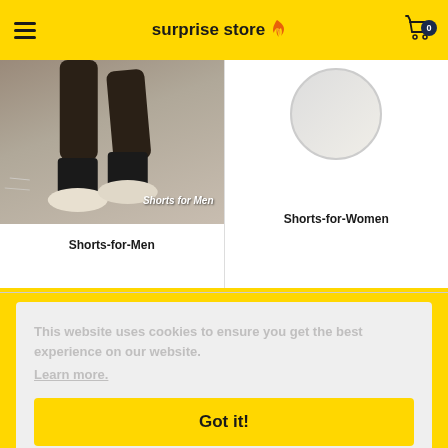surprise store
[Figure (screenshot): Product image showing legs/feet in athletic wear labeled 'Shorts for Men']
Shorts-for-Men
[Figure (illustration): Partial circular product image for Shorts for Women]
Shorts-for-Women
This website uses cookies to ensure you get the best experience on our website.
Learn more.
Got it!